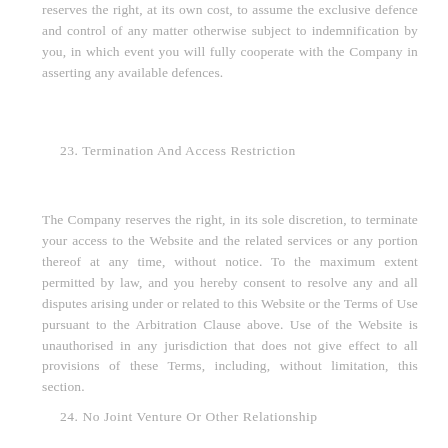reserves the right, at its own cost, to assume the exclusive defence and control of any matter otherwise subject to indemnification by you, in which event you will fully cooperate with the Company in asserting any available defences.
23. Termination And Access Restriction
The Company reserves the right, in its sole discretion, to terminate your access to the Website and the related services or any portion thereof at any time, without notice. To the maximum extent permitted by law, and you hereby consent to resolve any and all disputes arising under or related to this Website or the Terms of Use pursuant to the Arbitration Clause above. Use of the Website is unauthorised in any jurisdiction that does not give effect to all provisions of these Terms, including, without limitation, this section.
24. No Joint Venture Or Other Relationship